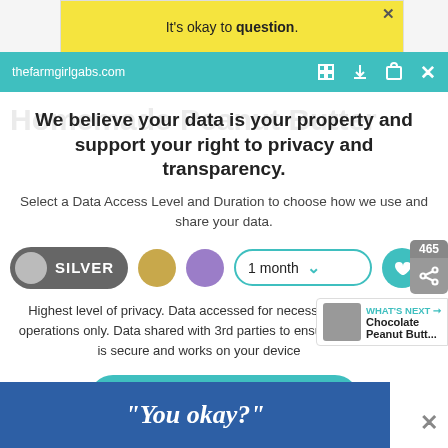[Figure (screenshot): Yellow advertisement banner at top reading 'It's okay to question.' with a close X button]
thefarmgirlgabs.com
We believe your data is your property and support your right to privacy and transparency.
Select a Data Access Level and Duration to choose how we use and share your data.
[Figure (infographic): Privacy controls row: silver toggle pill labeled SILVER, gold circle, purple circle, 1 month dropdown, heart button]
Highest level of privacy. Data accessed for necessary basic operations only. Data shared with 3rd parties to ensure the site is secure and works on your device
[Figure (infographic): Save my preferences teal rounded button]
[Figure (screenshot): Bottom blue advertisement banner with italic text "You okay?"]